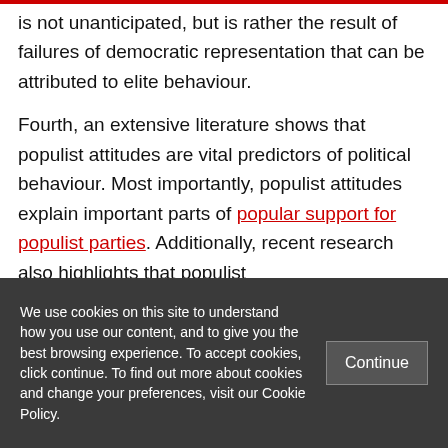is not unanticipated, but is rather the result of failures of democratic representation that can be attributed to elite behaviour.
Fourth, an extensive literature shows that populist attitudes are vital predictors of political behaviour. Most importantly, populist attitudes explain important parts of popular support for populist parties. Additionally, recent research also highlights that populist attitudes...
We use cookies on this site to understand how you use our content, and to give you the best browsing experience. To accept cookies, click continue. To find out more about cookies and change your preferences, visit our Cookie Policy.